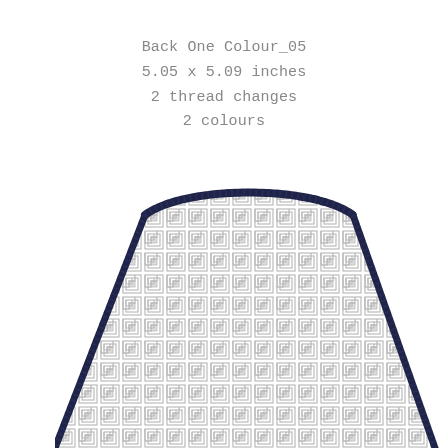Back One Colour_05
5.05 x 5.09 inches
2 thread changes
2 colours
[Figure (illustration): Embroidery design preview showing a trapezoidal/fan-shaped panel with a repeating Greek key (meander) pattern fill in light gray, bordered by a dark navy satin-stitch zigzag edge at the top curve and both straight sides. The shape is wider at the bottom and curves inward at the top.]